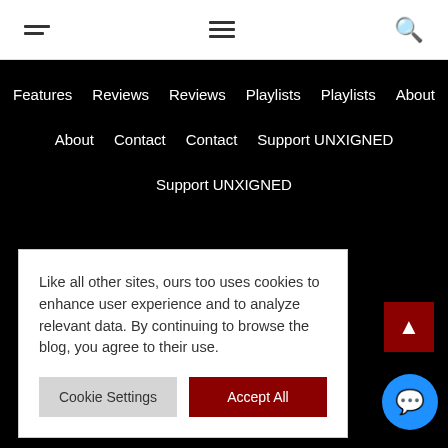[hamburger menu] [hamburger menu] [search icon]
Features   Reviews   Reviews   Playlists   Playlists   About
About   Contact   Contact   Support UNXIGNED
Support UNXIGNED
Like all other sites, ours too uses cookies to enhance user experience and to analyze relevant data. By continuing to browse the blog, you agree to their use.
Cookie Settings   Accept All